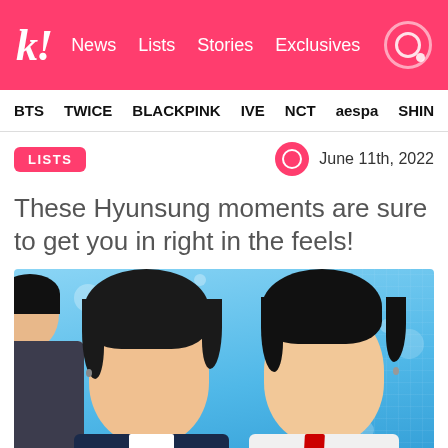k! News Lists Stories Exclusives
BTS TWICE BLACKPINK IVE NCT aespa SHINE
LISTS  June 11th, 2022
These Hyunsung moments are sure to get you in right in the feels!
[Figure (photo): Two young Korean male celebrities standing next to each other against a blue bokeh background. Left person wears a dark navy suit, right person wears a white outfit. Both have dark hair and wear earrings.]